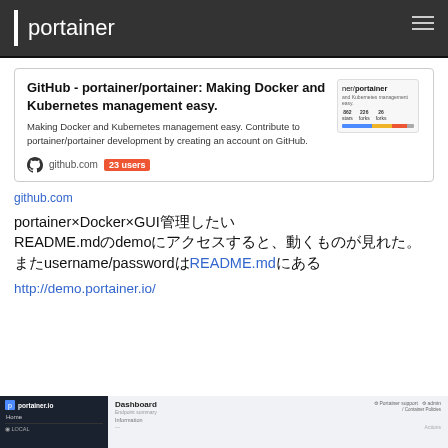portainer
[Figure (screenshot): GitHub - portainer/portainer repository card with thumbnail showing stars, forks, language bar. GitHub icon, github.com domain, 23 users badge.]
github.com
portainer×Docker×GUIで管理したい README.mdのdemoにアクセスすると、動くものが見れた。またusername/passwordはREADME.mdにある
http://demo.portainer.io/
[Figure (screenshot): Portainer.io dashboard screenshot showing navigation sidebar on left (dark background with Home and LOCAL sections) and main dashboard area on right with Portainer support and admin links.]